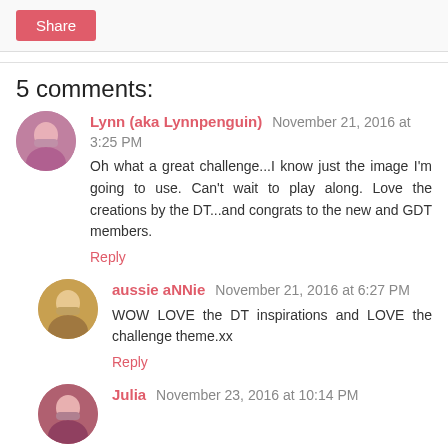[Figure (other): Share button]
5 comments:
Lynn (aka Lynnpenguin) November 21, 2016 at 3:25 PM
Oh what a great challenge...I know just the image I'm going to use. Can't wait to play along. Love the creations by the DT...and congrats to the new and GDT members.
Reply
aussie aNNie November 21, 2016 at 6:27 PM
WOW LOVE the DT inspirations and LOVE the challenge theme.xx
Reply
Julia November 23, 2016 at 10:14 PM